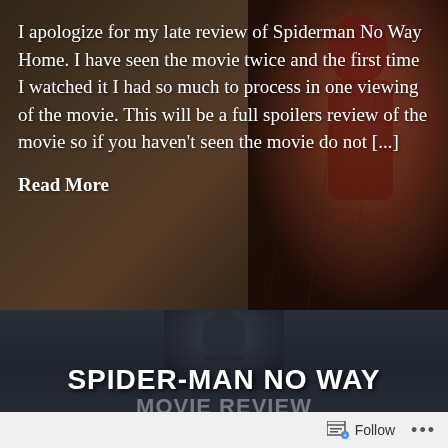I apologize for my late review of Spiderman No Way Home. I have seen the movie twice and the first time I watched it I had so much to process in one viewing of the movie. This will be a full spoilers review of the movie so if you haven't seen the movie do not [...]
Read More
[Figure (screenshot): Dark cinematic background with Spider-Man suit visible on right side, dark reddish-brown tones]
SPIDER-MAN NO WAY
MOVIE REVIEW (partially visible, faded)
Follow ...